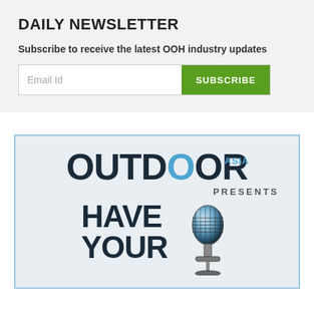DAILY NEWSLETTER
Subscribe to receive the latest OOH industry updates
[Figure (screenshot): Email subscription form with an input field labeled 'Email Id' and a green 'SUBSCRIBE' button]
[Figure (logo): Outdoor Asia magazine advertisement with large text 'OUTDOOR ASIA PRESENTS' and below it 'HAVE YOUR' with a vintage microphone illustration]